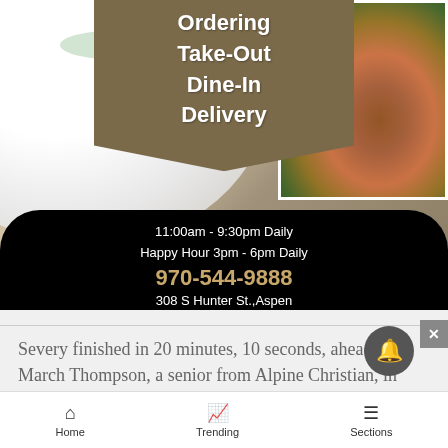[Figure (infographic): Restaurant advertisement banner showing food photos (plates and a bowl of soup), with a brown ribbon overlay listing services and contact info on a black curved section at bottom]
Ordering
Take-Out
Dine-In
Delivery
11:00am - 9:30pm Daily
Happy Hour 3pm - 6pm Daily
970-544-9888
308 S Hunter St., Aspen
Severy finished in 20 minutes, 10 seconds, ahead of March Thompson, a senior from Alpine Christian, in
Home   Trending   Sections